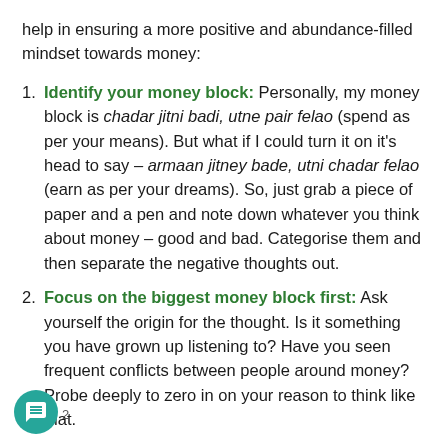help in ensuring a more positive and abundance-filled mindset towards money:
Identify your money block: Personally, my money block is chadar jitni badi, utne pair felao (spend as per your means). But what if I could turn it on it’s head to say – armaan jitney bade, utni chadar felao (earn as per your dreams). So, just grab a piece of paper and a pen and note down whatever you think about money – good and bad. Categorise them and then separate the negative thoughts out.
Focus on the biggest money block first: Ask yourself the origin for the thought. Is it something you have grown up listening to? Have you seen frequent conflicts between people around money? Probe deeply to zero in on your reason to think like that.